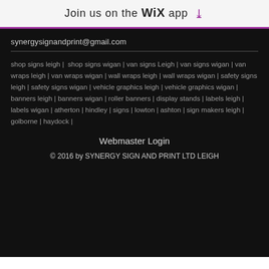Join us on the WiX app ↓
synergysignandprint@gmail.com
shop signs leigh |  shop signs wigan | van signs Leigh | van signs wigan | van wraps leigh | van wraps wigan | wall wraps leigh | wall wraps wigan | safety signs leigh | safety signs wigan | vehicle graphics leigh | vehicle graphics wigan | banners leigh | banners wigan | roller banners | display stands | labels leigh | labels wigan | atherton | hindley | signs | lowton | ashton | sign makers leigh | golborne | haydock |
Webmaster Login
© 2016 by SYNERGY SIGN AND PRINT LTD LEIGH